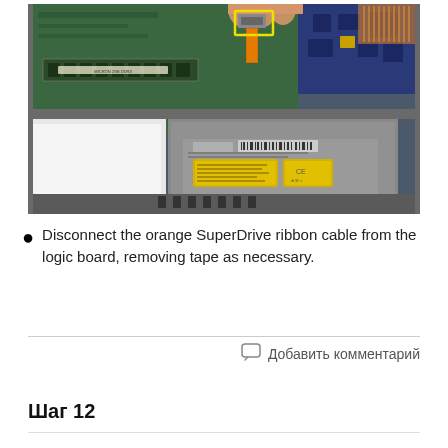[Figure (photo): Photograph of an open laptop showing the internal components including motherboard, RAM, optical drive (SuperDrive), and a hand disconnecting an orange ribbon cable connector highlighted with a yellow rectangle.]
Disconnect the orange SuperDrive ribbon cable from the logic board, removing tape as necessary.
Добавить комментарий
Шаг 12